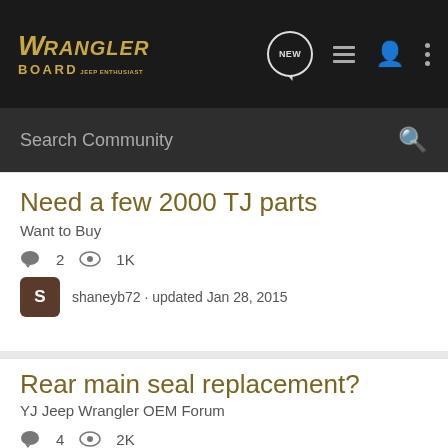Wrangler Board | Navigation: NEW, list, profile, more
Search Community
Need a few 2000 TJ parts
Want to Buy
2 replies · 1K views · shaneyb72 · updated Jan 28, 2015
Rear main seal replacement?
YJ Jeep Wrangler OEM Forum
4 replies · 2K views · Chris · updated Oct 9, 2013
power steering leak
YJ Jeep Wrangler OEM F...